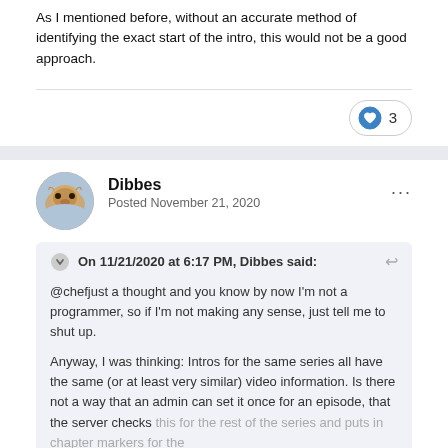As I mentioned before, without an accurate method of identifying the exact start of the intro, this would not be a good approach.
3
Dibbes
Posted November 21, 2020
On 11/21/2020 at 6:17 PM, Dibbes said:
@chefjust a thought and you know by now I'm not a programmer, so if I'm not making any sense, just tell me to shut up.

Anyway, I was thinking: Intros for the same series all have the same (or at least very similar) video information. Is there not a way that an admin can set it once for an episode, that the server checks this for the rest of the series and puts in chapter markers for the
Expand